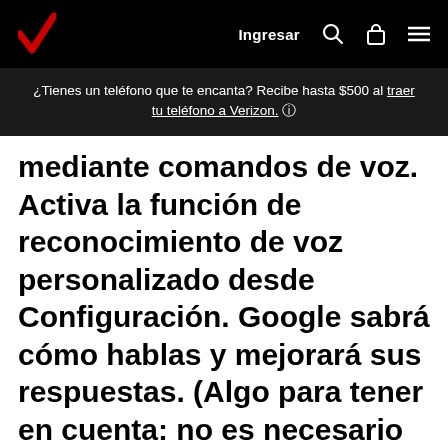Ingresar
¿Tienes un teléfono que te encanta? Recibe hasta $500 al traer tu teléfono a Verizon. ℹ
mediante comandos de voz. Activa la función de reconocimiento de voz personalizado desde Configuración. Google sabrá cómo hablas y mejorará sus respuestas. (Algo para tener en cuenta: no es necesario que hables excepcionalmente lento o que exageres con la enunciación, pero intenta evitar hacer pausas y volver a comenzar cuando hablas).
Google Now también tiene una excelente